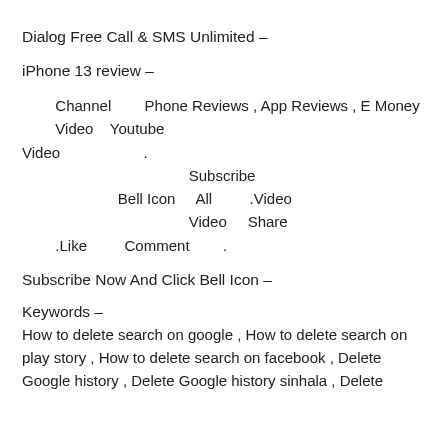Dialog Free Call & SMS Unlimited –
iPhone 13 review –
Channel      Phone Reviews , App Reviews , E Money          Video    Youtube Video                        .                                              Subscribe                            Bell Icon      All            .Video                                              Video      Share           .Like          Comment           .
Subscribe Now And Click Bell Icon –
Keywords –
How to delete search on google , How to delete search on play story , How to delete search on facebook , Delete Google history , Delete Google history sinhala , Delete